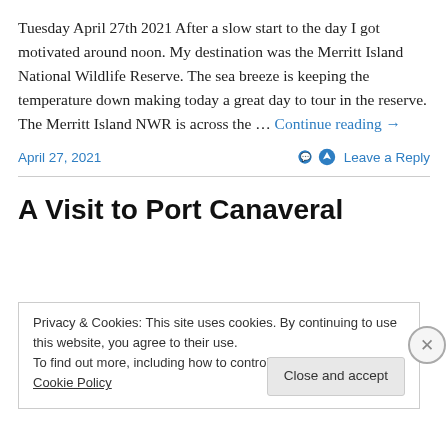Tuesday April 27th 2021 After a slow start to the day I got motivated around noon. My destination was the Merritt Island National Wildlife Reserve. The sea breeze is keeping the temperature down making today a great day to tour in the reserve. The Merritt Island NWR is across the … Continue reading →
April 27, 2021   Leave a Reply
A Visit to Port Canaveral
Privacy & Cookies: This site uses cookies. By continuing to use this website, you agree to their use.
To find out more, including how to control cookies, see here: Cookie Policy